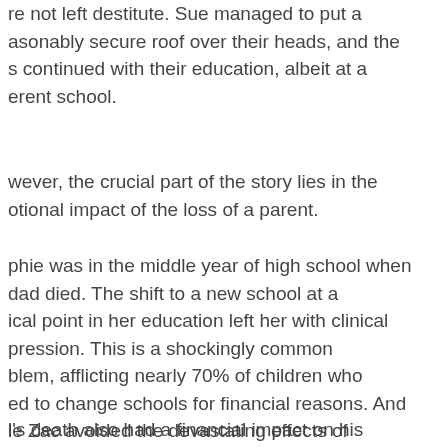re not left destitute. Sue managed to put a reasonably secure roof over their heads, and the s continued with their education, albeit at a erent school.
wever, the crucial part of the story lies in the otional impact of the loss of a parent.
phie was in the middle year of high school when dad died. The shift to a new school at a ical point in her education left her with clinical pression. This is a shockingly common blem, afflicting nearly 70% of children who ed to change schools for financial reasons. And le Zac avoided the devastating effects of pression, despite Sue's best efforts to give him ormal life, he felt he had to grow up fast to fill father's shoes.
l's death also had a financial impact on his